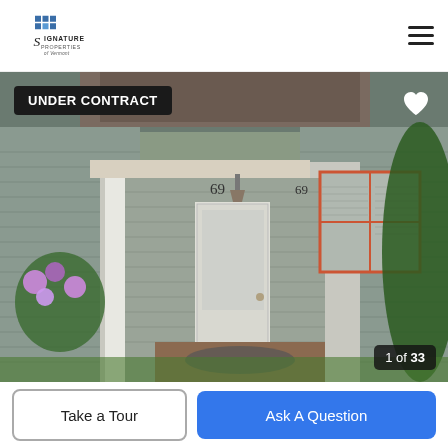[Figure (logo): Signature Properties of Vermont logo with blue grid icon and cursive/serif text]
[Figure (photo): Exterior photo of a residential home entrance showing house number 69, white door, gray siding, flowers, and greenery. Badge reading UNDER CONTRACT in upper left, heart icon upper right, counter '1 of 33' lower right.]
Take a Tour
Ask A Question